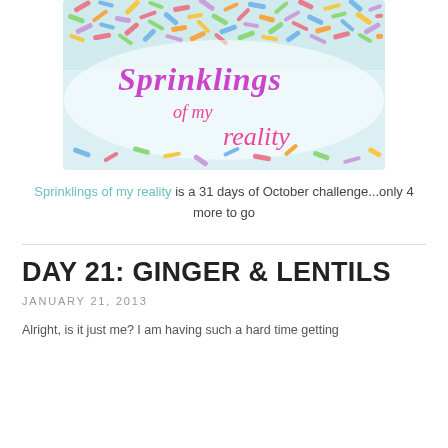[Figure (illustration): Blog header image showing colorful sprinkles on a white background with stylized text reading 'Sprinklings of my reality' in purple and pink hand-written style fonts]
Sprinklings of my reality is a 31 days of October challenge...only 4 more to go
DAY 21: GINGER & LENTILS
JANUARY 21, 2013
Alright, is it just me? I am having such a hard time getting